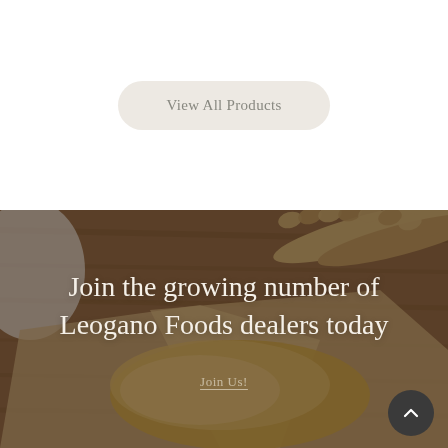View All Products
[Figure (photo): Overhead photo of bread/pastry on parchment paper on a wooden cutting board, with braided dough in background. Dark overlay applied.]
Join the growing number of Leogano Foods dealers today
Join Us!